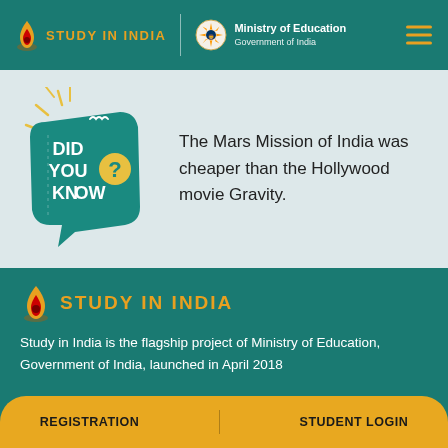[Figure (logo): Study in India logo with flame icon and text, Ministry of Education Government of India emblem, and hamburger menu icon on teal header background]
[Figure (infographic): Did You Know? badge with teal speech bubble design and yellow question mark, next to text: The Mars Mission of India was cheaper than the Hollywood movie Gravity.]
The Mars Mission of India was cheaper than the Hollywood movie Gravity.
[Figure (logo): Study in India logo with flame and orange text on teal background]
Study in India is the flagship project of Ministry of Education, Government of India, launched in April 2018
REGISTRATION    STUDENT LOGIN